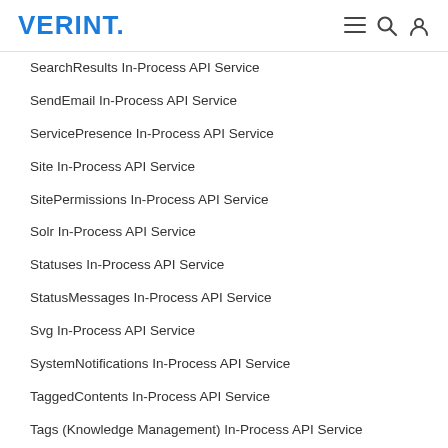VERINT.
SearchResults In-Process API Service
SendEmail In-Process API Service
ServicePresence In-Process API Service
Site In-Process API Service
SitePermissions In-Process API Service
Solr In-Process API Service
Statuses In-Process API Service
StatusMessages In-Process API Service
Svg In-Process API Service
SystemNotifications In-Process API Service
TaggedContents In-Process API Service
Tags (Knowledge Management) In-Process API Service
Tags In-Process API Service
ThemeableApplicationIds In-Process API Service
ThemeFiles In-Process API Service
ThemeFooterContentFragments In-Process API Service
ThemeFooters In-Process API Service